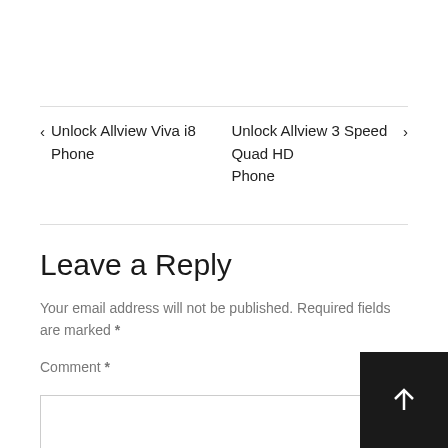‹ Unlock Allview Viva i8 Unlock Allview 3 Speed Quad HD Phone Phone ›
Leave a Reply
Your email address will not be published. Required fields are marked *
Comment *